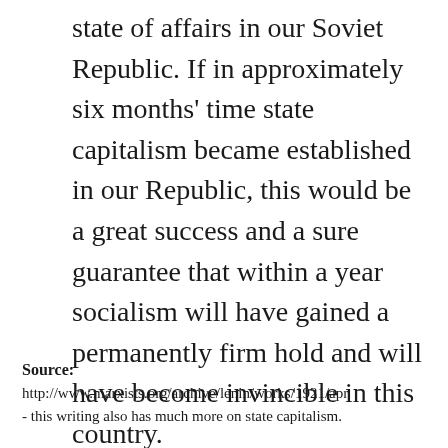state of affairs in our Soviet Republic. If in approximately six months' time state capitalism became established in our Republic, this would be a great success and a sure guarantee that within a year socialism will have gained a permanently firm hold and will have become invincible in this country.
Source: http://www.marxists.org/archive/lenin/works/1921/apr - this writing also has much more on state capitalism.